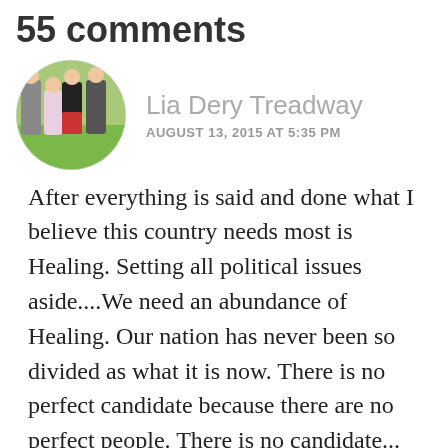55 comments
[Figure (photo): Circular avatar photo showing a group of four people outdoors, three men and one woman, posing together on a lawn with trees in background.]
Lia Dery Treadway
AUGUST 13, 2015 AT 5:35 PM
After everything is said and done what I believe this country needs most is Healing. Setting all political issues aside....We need an abundance of Healing. Our nation has never been so divided as what it is now. There is no perfect candidate because there are no perfect people. There is no candidate... Republican, Democrat. or Independent that will hold every belief of every individual. With that